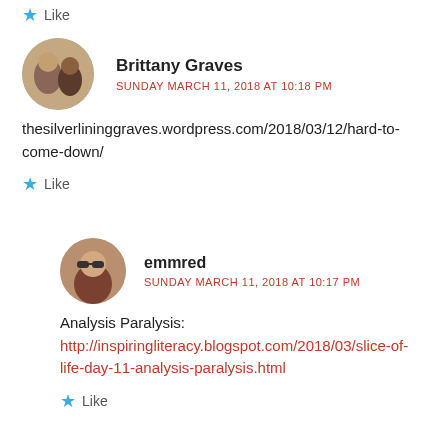★ Like
Brittany Graves
SUNDAY MARCH 11, 2018 AT 10:18 PM
thesilverlininggraves.wordpress.com/2018/03/12/hard-to-come-down/
★ Like
emmred
SUNDAY MARCH 11, 2018 AT 10:17 PM
Analysis Paralysis:
http://inspiringliteracy.blogspot.com/2018/03/slice-of-life-day-11-analysis-paralysis.html
★ Like